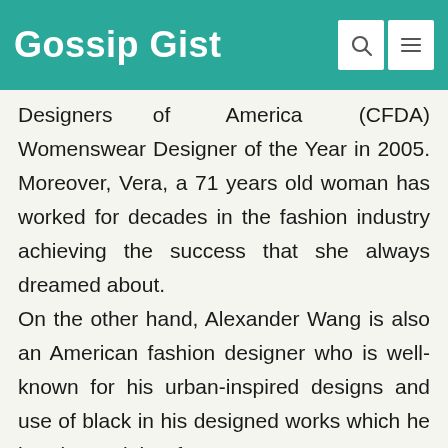Gossip Gist
Designers of America (CFDA) Womenswear Designer of the Year in 2005. Moreover, Vera, a 71 years old woman has worked for decades in the fashion industry achieving the success that she always dreamed about. On the other hand, Alexander Wang is also an American fashion designer who is well-known for his urban-inspired designs and use of black in his designed works which he has been doing for over 15 years now. He has acquired much